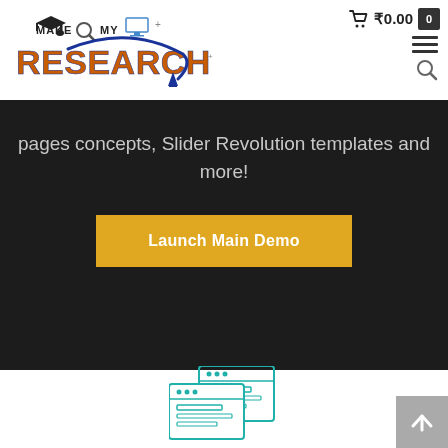[Figure (logo): Make My Research logo with graduation cap, magnifying glass, and stylized text in orange/brown and dark blue]
₹0.00  0  ☰  🔍
pages concepts, Slider Revolution templates and more!
Launch Main Demo
[Figure (illustration): Browser/webpage stacked windows icon in teal/cyan outline style]
[Figure (other): Back to top button (grey square with upward arrow)]